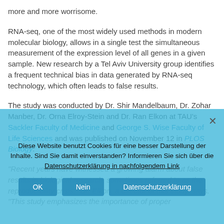more and more worrisome.
RNA-seq, one of the most widely used methods in modern molecular biology, allows in a single test the simultaneous measurement of the expression level of all genes in a given sample. New research by a Tel Aviv University group identifies a frequent technical bias in data generated by RNA-seq technology, which often leads to false results.
The study was conducted by Dr. Shir Mandelbaum, Dr. Zohar Manber, Dr. Orna Elroy-Stein and Dr. Ran Elkon at TAU's Sackler Faculty of Medicine and George S. Wise Faculty of Life Sciences and was published on November 12 in PLOS Biology.
"Recent years have witnessed a growing alarm about false results in biological research, sometimes referred to as the reproducibility crisis," Dr. Elkon, a director of this study, says. "This study emphasizes the importance of proper
Diese Website benutzt Cookies für eine besser Darstellung der Inhalte. Sind Sie damit einverstanden? Informieren Sie sich über die Datenschutzerklärung in nachfolgendem Link